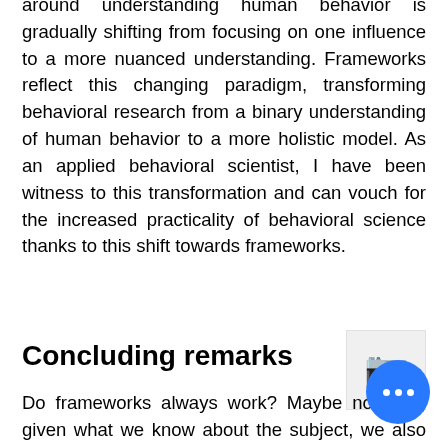around understanding human behavior is gradually shifting from focusing on one influence to a more nuanced understanding. Frameworks reflect this changing paradigm, transforming behavioral research from a binary understanding of human behavior to a more holistic model. As an applied behavioral scientist, I have been witness to this transformation and can vouch for the increased practicality of behavioral science thanks to this shift towards frameworks.
Concluding remarks
Do frameworks always work? Maybe not. But, given what we know about the subject, we also know that drawing conclusions based on academic